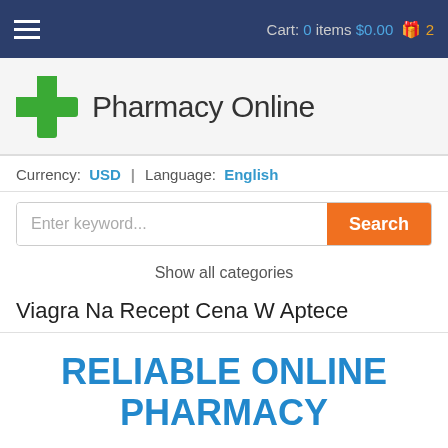Cart: 0 items $0.00 2
[Figure (logo): Green pharmacy cross logo with text Pharmacy Online]
Currency: USD | Language: English
Enter keyword... Search
Show all categories
Viagra Na Recept Cena W Aptece
RELIABLE ONLINE PHARMACY
> Click here to order now